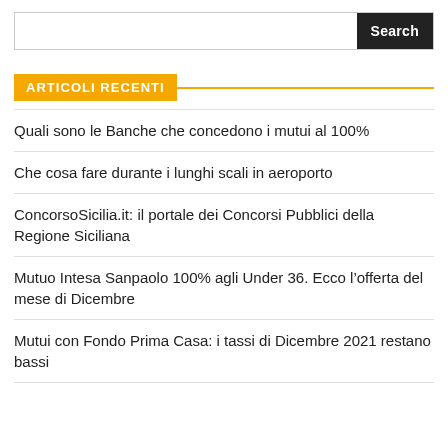[Figure (screenshot): Search bar with text input and dark Search button]
ARTICOLI RECENTI
Quali sono le Banche che concedono i mutui al 100%
Che cosa fare durante i lunghi scali in aeroporto
ConcorsoSicilia.it: il portale dei Concorsi Pubblici della Regione Siciliana
Mutuo Intesa Sanpaolo 100% agli Under 36. Ecco l’offerta del mese di Dicembre
Mutui con Fondo Prima Casa: i tassi di Dicembre 2021 restano bassi